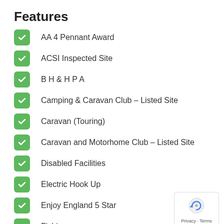Features
AA 4 Pennant Award
ACSI Inspected Site
B H & H P A
Camping & Caravan Club – Listed Site
Caravan (Touring)
Caravan and Motorhome Club – Listed Site
Disabled Facilities
Electric Hook Up
Enjoy England 5 Star
Fishing